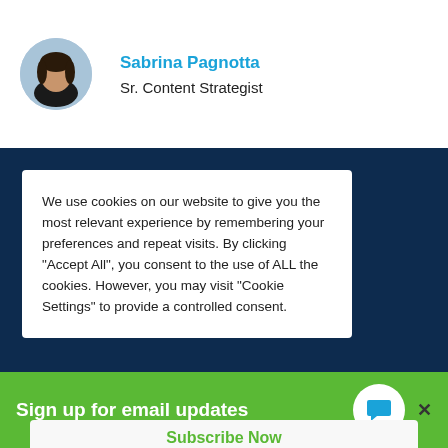[Figure (photo): Circular avatar photo of a woman with dark hair, wearing a black top, on a light blue background]
Sabrina Pagnotta
Sr. Content Strategist
We use cookies on our website to give you the most relevant experience by remembering your preferences and repeat visits. By clicking "Accept All", you consent to the use of ALL the cookies. However, you may visit "Cookie Settings" to provide a controlled consent.
Sign up for email updates
Subscribe Now